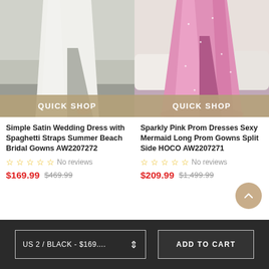[Figure (photo): Simple satin wedding dress with spaghetti straps, showing lower half of dress with slit, white/silver fabric]
QUICK SHOP
[Figure (photo): Sparkly pink prom dress mermaid style with flared bottom, glitter/sequin fabric, shown in indoor setting]
QUICK SHOP
Simple Satin Wedding Dress with Spaghetti Straps Summer Beach Bridal Gowns AW2207272
No reviews
$169.99  $469.99
Sparkly Pink Prom Dresses Sexy Mermaid Long Prom Gowns Split Side HOCO AW2207271
No reviews
$209.99  $1,499.99
US 2 / BLACK - $169....
ADD TO CART